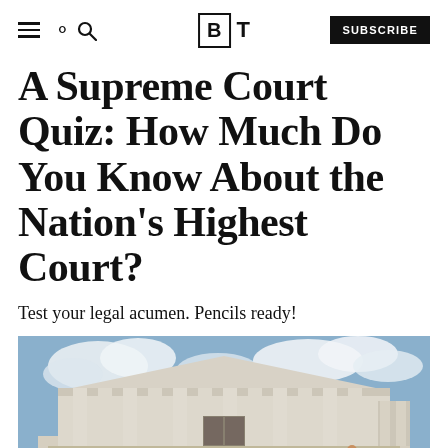BT | SUBSCRIBE
A Supreme Court Quiz: How Much Do You Know About the Nation's Highest Court?
Test your legal acumen. Pencils ready!
[Figure (photo): Exterior photo of the United States Supreme Court building with columns and people walking on the steps, cloudy sky in background]